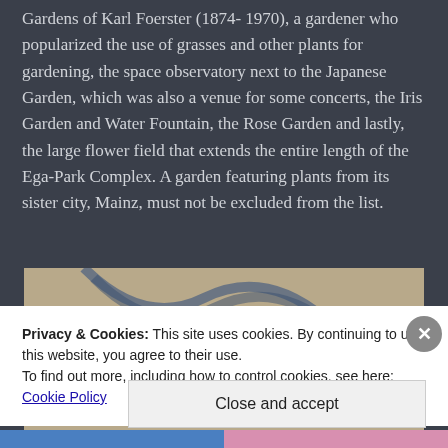Gardens of Karl Foerster (1874-1970), a gardener who popularized the use of grasses and other plants for gardening, the space observatory next to the Japanese Garden, which was also a venue for some concerts, the Iris Garden and Water Fountain, the Rose Garden and lastly, the large flower field that extends the entire length of the Ega-Park Complex. A garden featuring plants from its sister city, Mainz, must not be excluded from the list.
[Figure (photo): Partial view of a photo showing curved shapes on a beige/tan background, partially obscured by cookie consent banner]
Privacy & Cookies: This site uses cookies. By continuing to use this website, you agree to their use.
To find out more, including how to control cookies, see here: Cookie Policy
Close and accept